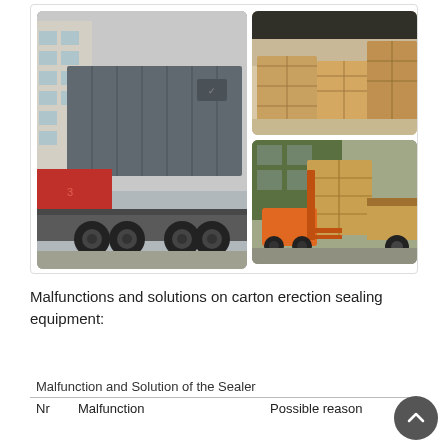[Figure (photo): Three photos showing shipping containers and wooden crates being loaded/unloaded: left photo shows a large grey shipping container on a flatbed truck in an urban street; top-right photo shows wooden crates in a warehouse/loading area; bottom-right photo shows a forklift loading a large wooden crate onto a truck.]
Malfunctions and solutions on carton erection sealing equipment:
| Nr | Malfunction | Possible reason |
| --- | --- | --- |